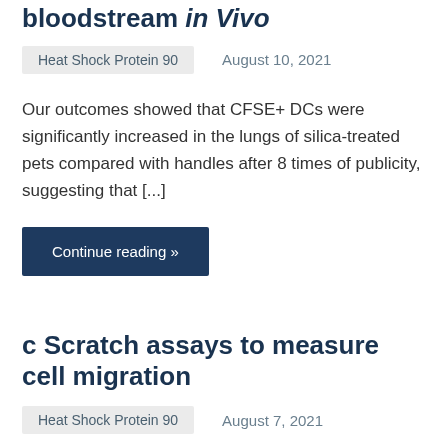bloodstream in Vivo
Heat Shock Protein 90    August 10, 2021
Our outcomes showed that CFSE+ DCs were significantly increased in the lungs of silica-treated pets compared with handles after 8 times of publicity, suggesting that [...]
Continue reading »
c Scratch assays to measure cell migration
Heat Shock Protein 90    August 7, 2021